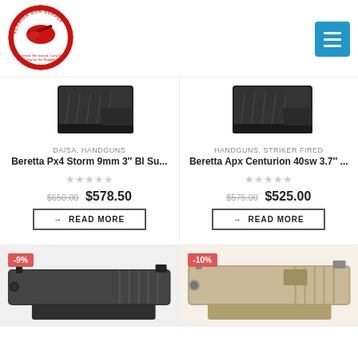[Figure (logo): Florida Gun Supply circular red logo with alligator holding rifle, text: Get armed. Get trained. Carry Daily. Long live the Republic!]
[Figure (other): Blue hamburger menu button (three horizontal white lines on cyan-blue square)]
[Figure (photo): Bottom portion of a black handgun (Beretta Px4 Storm) shown from above]
DA/SA, HANDGUNS
Beretta Px4 Storm 9mm 3″ Bl Su...
★★★★★ (empty stars)
$650.00  $578.50
→ READ MORE
[Figure (photo): Bottom portion of a black handgun (Beretta Apx Centurion) shown from above]
HANDGUNS, STRIKER FIRED
Beretta Apx Centurion 40sw 3.7″ ...
★★★★★ (empty stars)
$575.00  $525.00
→ READ MORE
[Figure (photo): Black pistol slide / handgun partial view, -9% discount badge]
[Figure (photo): Tan/FDE colored pistol slide / handgun partial view, -10% discount badge]